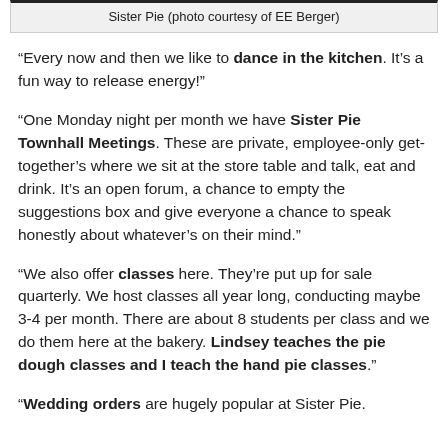Sister Pie (photo courtesy of EE Berger)
“Every now and then we like to dance in the kitchen. It’s a fun way to release energy!”
“One Monday night per month we have Sister Pie Townhall Meetings. These are private, employee-only get-together’s where we sit at the store table and talk, eat and drink. It’s an open forum, a chance to empty the suggestions box and give everyone a chance to speak honestly about whatever’s on their mind.”
“We also offer classes here. They’re put up for sale quarterly. We host classes all year long, conducting maybe 3-4 per month. There are about 8 students per class and we do them here at the bakery. Lindsey teaches the pie dough classes and I teach the hand pie classes.”
“Wedding orders are hugely popular at Sister Pie.